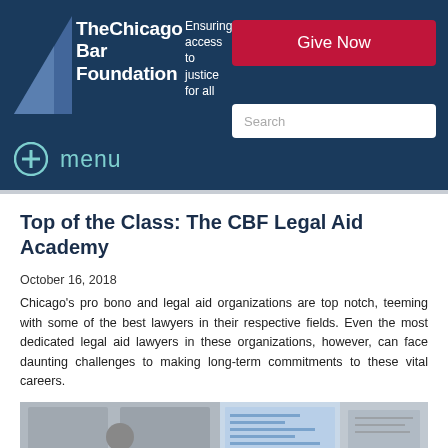The Chicago Bar Foundation — Ensuring access to justice for all
Top of the Class: The CBF Legal Aid Academy
October 16, 2018
Chicago's pro bono and legal aid organizations are top notch, teeming with some of the best lawyers in their respective fields. Even the most dedicated legal aid lawyers in these organizations, however, can face daunting challenges to making long-term commitments to these vital careers.
[Figure (photo): Photo of a man speaking at a presentation with a projector screen visible in the background showing agenda items, in what appears to be a meeting or classroom setting.]